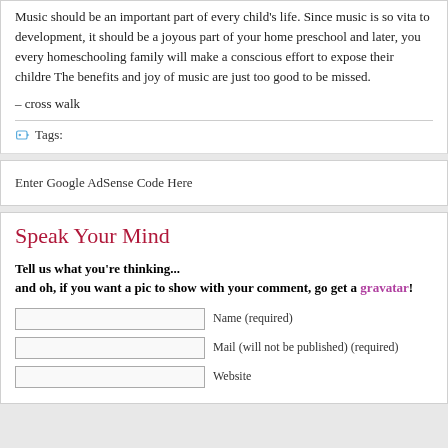Music should be an important part of every child's life. Since music is so vital to development, it should be a joyous part of your home preschool and later, you every homeschooling family will make a conscious effort to expose their children. The benefits and joy of music are just too good to be missed.
– cross walk
Tags:
Enter Google AdSense Code Here
Speak Your Mind
Tell us what you're thinking...
and oh, if you want a pic to show with your comment, go get a gravatar!
Name (required)
Mail (will not be published) (required)
Website